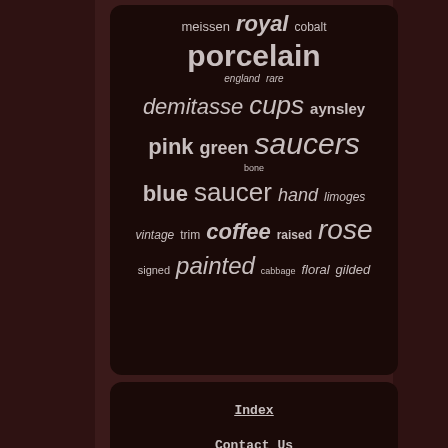[Figure (infographic): Word cloud of search tags related to porcelain demitasse cups and saucers, displayed on a dark brown rounded rectangle. Words vary in size and include: meissen, royal, cobalt, porcelain, england, rare, demitasse, cups, aynsley, pink, green, saucers, bone, blue, saucer, hand, limoges, vintage, trim, coffee, raised, rose, signed, painted, cabbage, floral, gilded]
Index
Contact Us
Privacy Policy Agreement
Terms of Use